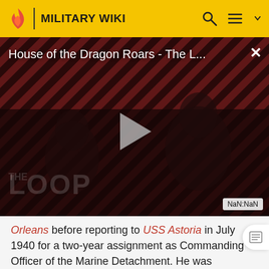MILITARY WIKI
[Figure (screenshot): Video thumbnail for 'House of the Dragon Roars - The L...' with a play button overlay, diagonal stripe background in dark red/black, silhouettes of people, THE LOOP text, and NaN:NaN timestamp badge]
Orleans before reporting to USS Astoria in July 1940 for a two-year assignment as Commanding Officer of the Marine Detachment. He was promoted to captain in April 1941.
On board Astoria following the outbreak of World War II,